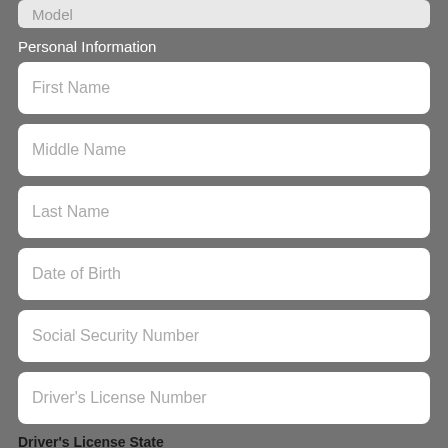Model
Personal Information
First Name
Middle Name
Last Name
Date of Birth
Social Security Number
Driver's License Number
Driver's License State
Please Select
Driver's License Expiration Date